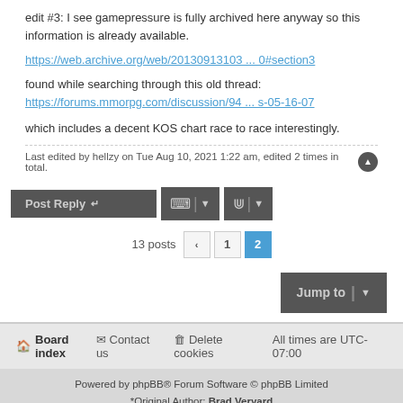edit #3: I see gamepressure is fully archived here anyway so this information is already available.
https://web.archive.org/web/20130913103 ... 0#section3
found while searching through this old thread:
https://forums.mmorpg.com/discussion/94 ... s-05-16-07
which includes a decent KOS chart race to race interestingly.
Last edited by hellzy on Tue Aug 10, 2021 1:22 am, edited 2 times in total.
Post Reply | Tools | Sort
13 posts  < 1 2
Jump to
Board index  Contact us  Delete cookies  All times are UTC-07:00
Powered by phpBB® Forum Software © phpBB Limited
*Original Author: Brad Veryard
*Updated to 3.2 by MannixMD